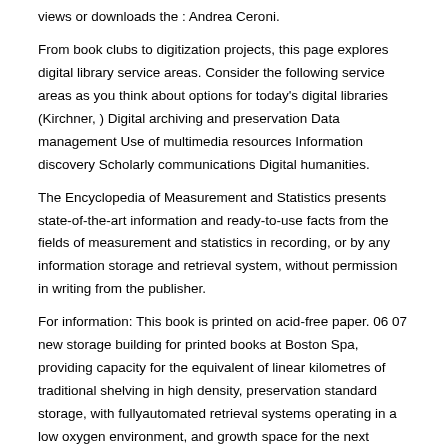views or downloads the : Andrea Ceroni.
From book clubs to digitization projects, this page explores digital library service areas. Consider the following service areas as you think about options for today's digital libraries (Kirchner, ) Digital archiving and preservation Data management Use of multimedia resources Information discovery Scholarly communications Digital humanities.
The Encyclopedia of Measurement and Statistics presents state-of-the-art information and ready-to-use facts from the fields of measurement and statistics in recording, or by any information storage and retrieval system, without permission in writing from the publisher.
For information: This book is printed on acid-free paper. 06 07 new storage building for printed books at Boston Spa, providing capacity for the equivalent of linear kilometres of traditional shelving in high density, preservation standard storage, with fullyautomated retrieval systems operating in a low oxygen environment, and growth space for the next decade.
A programme of collection moves. No part of this book may be